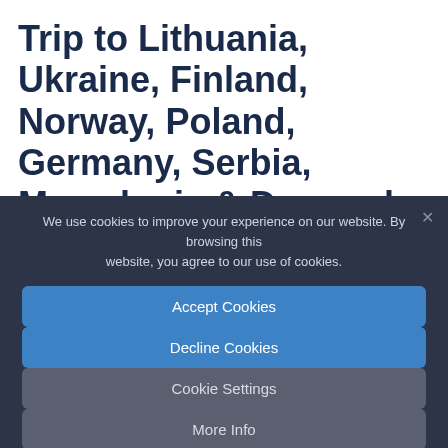Trip to Lithuania, Ukraine, Finland, Norway, Poland, Germany, Serbia, Macedonia & Denmark in May 2019
We use cookies to improve your experience on our website. By browsing this website, you agree to our use of cookies.
Accept Cookies
Decline Cookies
Cookie Settings
More Info